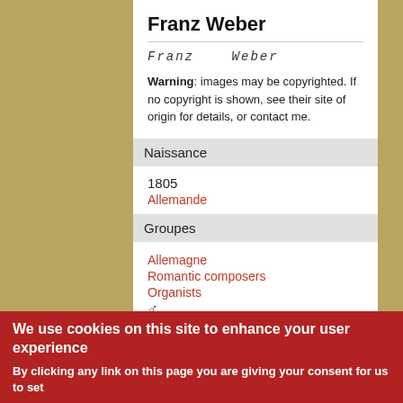Franz Weber
Franz   Weber
Warning: images may be copyrighted. If no copyright is shown, see their site of origin for details, or contact me.
Naissance
1805
Allemande
Groupes
Allemagne
Romantic composers
Organists
♂
We use cookies on this site to enhance your user experience
By clicking any link on this page you are giving your consent for us to set